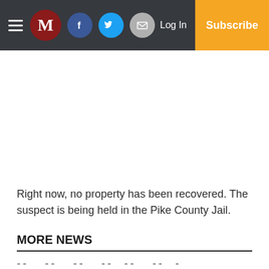M — Log In — Subscribe (navigation bar with Facebook, Twitter, Email icons)
Right now, no property has been recovered. The suspect is being held in the Pike County Jail.
MORE NEWS